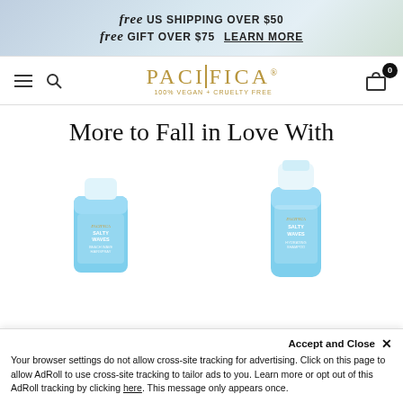free US SHIPPING OVER $50
free GIFT OVER $75 LEARN MORE
[Figure (screenshot): Pacifica beauty brand navigation bar with hamburger menu, search icon, Pacifica logo with '100% VEGAN + CRUELTY FREE' tagline, and shopping cart icon with badge showing 0]
More to Fall in Love With
[Figure (photo): Two Pacifica Salty Waves hair products on white background: a blue tube (leave-in conditioner) on the left and a taller blue bottle (shampoo or spray) on the right]
Accept and Close ×
Your browser settings do not allow cross-site tracking for advertising. Click on this page to allow AdRoll to use cross-site tracking to tailor ads to you. Learn more or opt out of this AdRoll tracking by clicking here. This message only appears once.